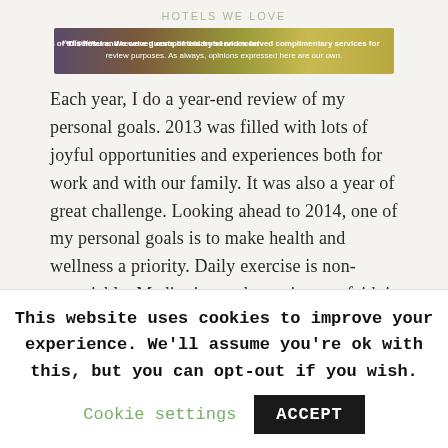HOTELS WE LOVE
[Figure (photo): Disclosure banner with purple/green gradient background and white text: 'Disclosure: We were guests of this hotel and received complimentary services for review purposes. As always, opinions expressed here are our own.']
Each year, I do a year-end review of my personal goals. 2013 was filled with lots of joyful opportunities and experiences both for work and with our family. It was also a year of great challenge. Looking ahead to 2014, one of my personal goals is to make health and wellness a priority. Daily exercise is non-negotiable. Meditation and growing my faith is an important part of keeping my energy high.
This website uses cookies to improve your experience. We'll assume you're ok with this, but you can opt-out if you wish.
Cookie settings   ACCEPT